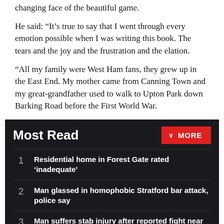changing face of the beautiful game.
He said: “It’s true to say that I went through every emotion possible when I was writing this book. The tears and the joy and the frustration and the elation.
“All my family were West Ham fans, they grew up in the East End. My mother came from Canning Town and my great-grandfather used to walk to Upton Park down Barking Road before the First World War.
Most Read
1 Residential home in Forest Gate rated ‘inadequate’
2 Man glassed in homophobic Stratford bar attack, police say
3 Man suffers stab injury after reported fight near Stratford Centre